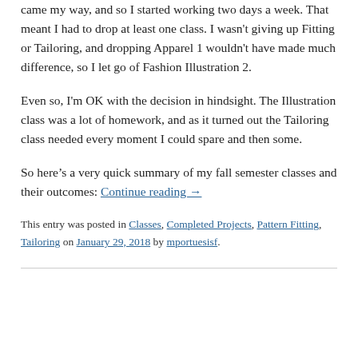came my way, and so I started working two days a week. That meant I had to drop at least one class. I wasn't giving up Fitting or Tailoring, and dropping Apparel 1 wouldn't have made much difference, so I let go of Fashion Illustration 2.
Even so, I'm OK with the decision in hindsight. The Illustration class was a lot of homework, and as it turned out the Tailoring class needed every moment I could spare and then some.
So here's a very quick summary of my fall semester classes and their outcomes: Continue reading →
This entry was posted in Classes, Completed Projects, Pattern Fitting, Tailoring on January 29, 2018 by mportuesisf.